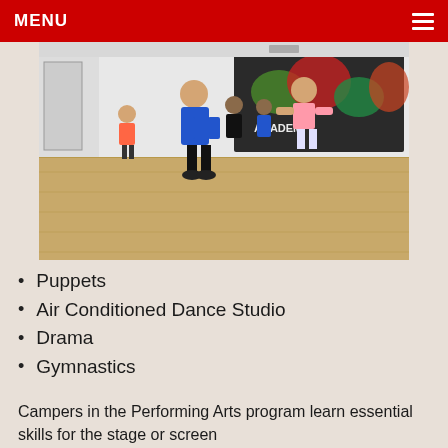MENU
[Figure (photo): Dance instructor in a blue shirt leading a group of children in a dance studio with colorful graffiti mural on the wall and wooden floor.]
Puppets
Air Conditioned Dance Studio
Drama
Gymnastics
Campers in the Performing Arts program learn essential skills for the stage or screen